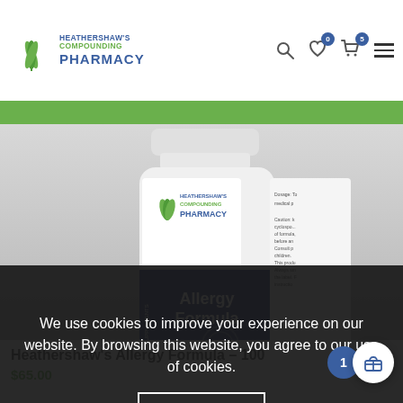[Figure (logo): Heathershaw's Compounding Pharmacy logo with green leaf icon and blue text]
HEATHERSHAW'S COMPOUNDING PHARMACY — header navigation with search, wishlist (0), cart (5), and menu icons
[Figure (photo): Heathershaw's Compounding Pharmacy Allergy Formula supplement bottle, white with blue label]
We use cookies to improve your experience on our website. By browsing this website, you agree to our use of cookies.
ACCEPT
Heathershaw's Allergy Formula – 100
$65.00